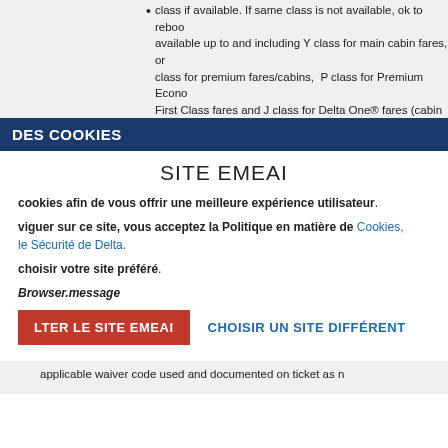class if available. If same class is not available, ok to rebook available up to and including Y class for main cabin fares, or class for premium fares/cabins, P class for Premium Econo First Class fares and J class for Delta One® fares (cabin to c
Fare differences and change fee will be waived provided the before February 27, 2022. In addition, PNR must be docume
DES COOKIES
SITE EMEAI
cookies afin de vous offrir une meilleure expérience utilisateur.
viguer sur ce site, vous acceptez la Politique en matière de Cookies, le Sécurité de Delta.
choisir votre site préféré.
Browser.message
LTER LE SITE EMEAI   CHOISIR UN SITE DIFFÉRENT
applicable waiver code used and documented on ticket as n